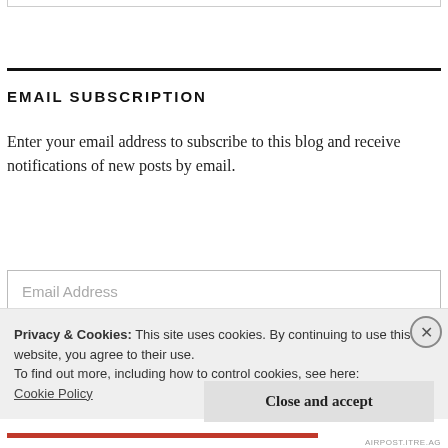EMAIL SUBSCRIPTION
Enter your email address to subscribe to this blog and receive notifications of new posts by email.
Email Address
Privacy & Cookies: This site uses cookies. By continuing to use this website, you agree to their use.
To find out more, including how to control cookies, see here:
Cookie Policy
Close and accept
AIRPOST.ITRE.AG